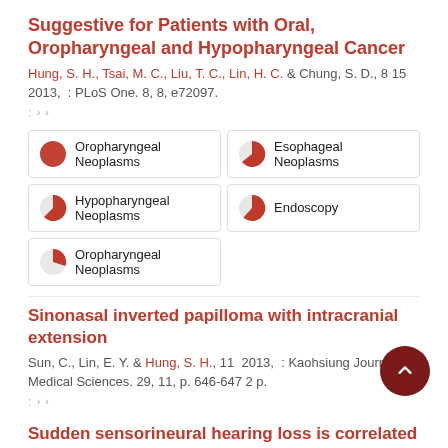Suggestive for Patients with Oral, Oropharyngeal and Hypopharyngeal Cancer
Hung, S. H., Tsai, M. C., Liu, T. C., Lin, H. C. & Chung, S. D., 8 15 2013, : PLoS One. 8, 8, e72097.
Oropharyngeal Neoplasms
Esophageal Neoplasms
Hypopharyngeal Neoplasms
Endoscopy
Oropharyngeal Neoplasms
Sinonasal inverted papilloma with intracranial extension
Sun, C., Lin, E. Y. & Hung, S. H., 11 2013, : Kaohsiung Journal of Medical Sciences. 29, 11, p. 646-647 2 p.
Sudden sensorineural hearing loss is correlated an increased risk of acute myocardial infarction: A